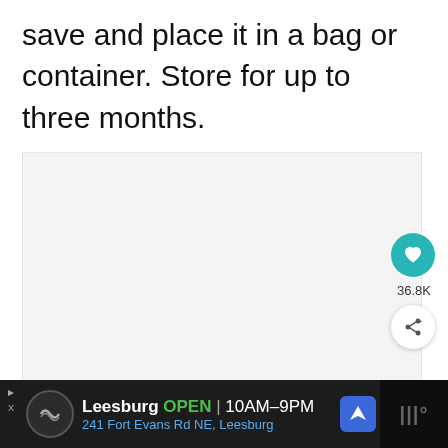save and place it in a bag or container. Store for up to three months.
[Figure (photo): Large image area placeholder (light gray) showing food-related content, with UI overlays: heart/like button (teal, 36.8K likes), share button, navigation dots, and a 'What's Next' panel showing Valentine's Chex Mix.]
36.8K
WHAT'S NEXT → Valentine's Chex Mix
Leesburg OPEN 10AM–9PM 241 Fort Evans Rd NE, Leesburg